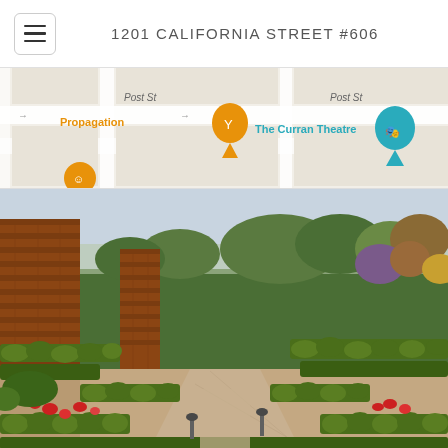1201 CALIFORNIA STREET #606
[Figure (map): Street map showing Post St area with Propagation pin (orange) and The Curran Theatre pin (teal/green)]
[Figure (photo): Outdoor garden photo showing formal boxwood hedge maze with brick walls, colorful flowers, and lush greenery in background]